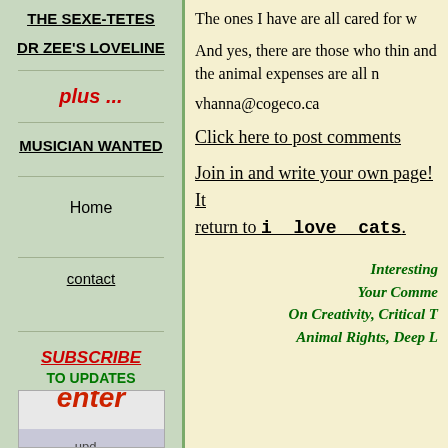THE SEXE-TETES
DR ZEE'S LOVELINE
plus ...
MUSICIAN WANTED
Home
contact
SUBSCRIBE TO UPDATES
[Figure (photo): Enter/subscribe button image showing the word 'enter' in red with an updates graphic below]
The ones I have are all cared for w...
And yes, there are those who thin... and the animal expenses are all n...
vhanna@cogeco.ca
Click here to post comments
Join in and write your own page! It... return to i  love  cats.
Interesting... Your Comme... On Creativity, Critical T... Animal Rights, Deep L...